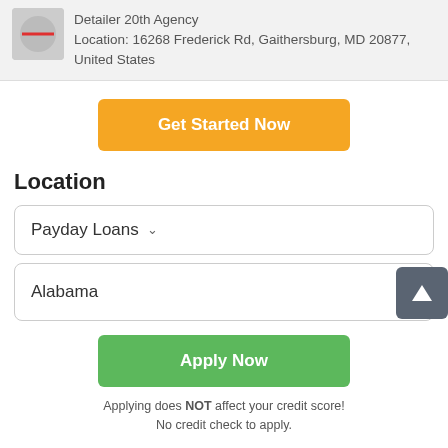Location: 16268 Frederick Rd, Gaithersburg, MD 20877, United States
Get Started Now
Location
Payday Loans
Alabama
Apply Now
Applying does NOT affect your credit score! No credit check to apply.